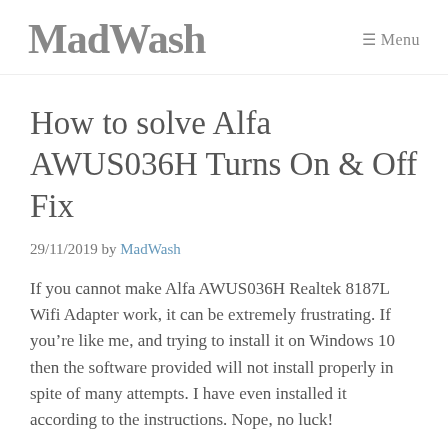MadWash  ☰ Menu
How to solve Alfa AWUS036H Turns On & Off Fix
29/11/2019 by MadWash
If you cannot make Alfa AWUS036H Realtek 8187L Wifi Adapter work, it can be extremely frustrating. If you're like me, and trying to install it on Windows 10 then the software provided will not install properly in spite of many attempts. I have even installed it according to the instructions. Nope, no luck!